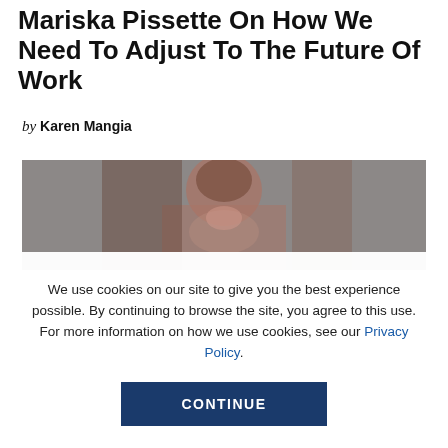Mariska Pissette On How We Need To Adjust To The Future Of Work
by Karen Mangia
[Figure (photo): Blurred photograph of a person, partially visible, with a grey background.]
We use cookies on our site to give you the best experience possible. By continuing to browse the site, you agree to this use. For more information on how we use cookies, see our Privacy Policy.
CONTINUE